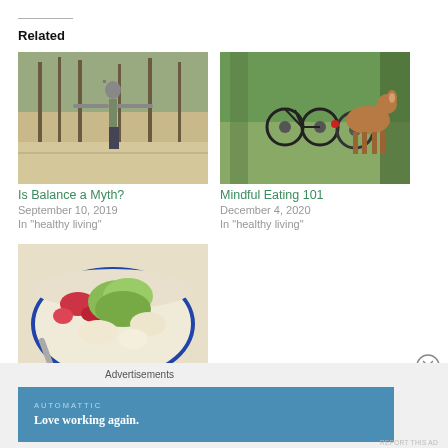Related
[Figure (photo): Person standing outdoors with arms outstretched in a forest setting]
Is Balance a Myth?
September 10, 2019
In "healthy living"
[Figure (photo): Bicycles parked near a deer in a forested area]
Mindful Eating 101
December 4, 2020
In "healthy living"
[Figure (photo): Bowl of food with avocado and fruit, possibly quinoa salad]
Quinoa Salad
Advertisements
[Figure (screenshot): Automattic advertisement banner: Love working again.]